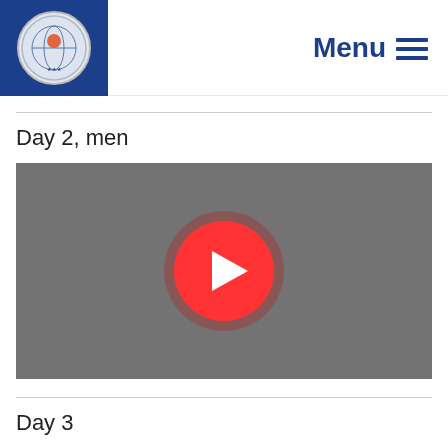Menu
Day 2, men
[Figure (other): Video thumbnail with red play button on grey background]
Day 3